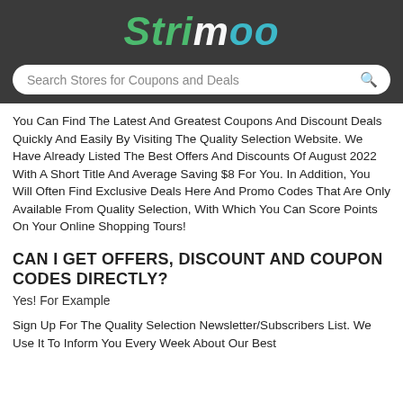Strimoo
Search Stores for Coupons and Deals
You Can Find The Latest And Greatest Coupons And Discount Deals Quickly And Easily By Visiting The Quality Selection Website. We Have Already Listed The Best Offers And Discounts Of August 2022 With A Short Title And Average Saving $8 For You. In Addition, You Will Often Find Exclusive Deals Here And Promo Codes That Are Only Available From Quality Selection, With Which You Can Score Points On Your Online Shopping Tours!
CAN I GET OFFERS, DISCOUNT AND COUPON CODES DIRECTLY?
Yes! For Example
Sign Up For The Quality Selection Newsletter/Subscribers List. We Use It To Inform You Every Week About Our Best